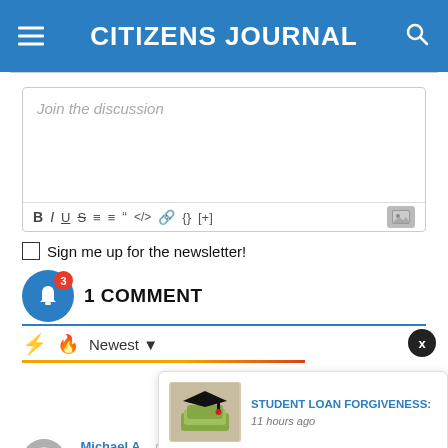CITIZENS JOURNAL
[Figure (screenshot): Comment text input box with placeholder 'Join the discussion' and formatting toolbar icons: B, I, U, S, ordered list, unordered list, blockquote, code, link, braces, [+], and image icon]
Sign me up for the newsletter!
1 COMMENT
Newest
[Figure (screenshot): Notification popup showing a graduation cap with money image and headline 'STUDENT LOAN FORGIVENESS:' with timestamp '11 hours ago']
Michael A...  4 months ago
There are voters in California who cannot tell you the